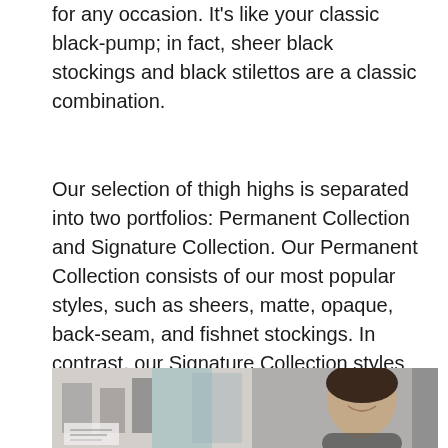for any occasion. It's like your classic black-pump; in fact, sheer black stockings and black stilettos are a classic combination.
Our selection of thigh highs is separated into two portfolios: Permanent Collection and Signature Collection. Our Permanent Collection consists of our most popular styles, such as sheers, matte, opaque, back-seam, and fishnet stockings. In contrast, our Signature Collection styles are more fashion-forward made with features such as sparkly gems, satin bows, and hand-stitched embroideries.
[Figure (photo): A photo showing a woman with dark hair smiling, surrounded by fashion-related imagery and stockings display items in what appears to be a retail or showroom setting.]